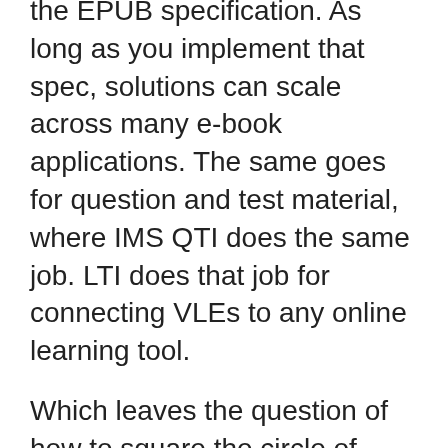the EPUB specification. As long as you implement that spec, solutions can scale across many e-book applications. The same goes for question and test material, where IMS QTI does the same job. LTI does that job for connecting VLEs to any online learning tool.
Which leaves the question of how to square the circle of making the assessment experience as engaging and effective as possible, but also work on devices with very different capabilities.
Fortunately, EPUB3 files can include a number of techniques that allow an author to adapt the content to the capability of the device it is being read on. I used those techniques to present the same QTI item in three different ways; as a static quiz – much like a printed book –, as a simple interactive widget and as a feedback rich test run by an online assessment system inside the book. The latter option makes detailed analytics data available